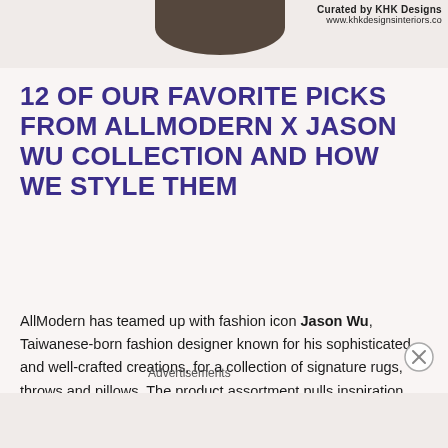[Figure (photo): Top portion of a decorative image partially visible, with a dark shape/silhouette. Watermark text reads 'Curated by KHK Designs' and 'www.khkdesignsinteriors.co']
12 OF OUR FAVORITE PICKS FROM ALLMODERN X JASON WU COLLECTION AND HOW WE STYLE THEM
AllModern has teamed up with fashion icon Jason Wu, Taiwanese-born fashion designer known for his sophisticated and well-crafted creations, for a collection of signature rugs, throws and pillows. The product assortment pulls inspiration from architecture and midcentury design, drawing upon the work of modern artists Josef Albers and Mark Rothko by incorporating geometric forms, abstract
Advertisements